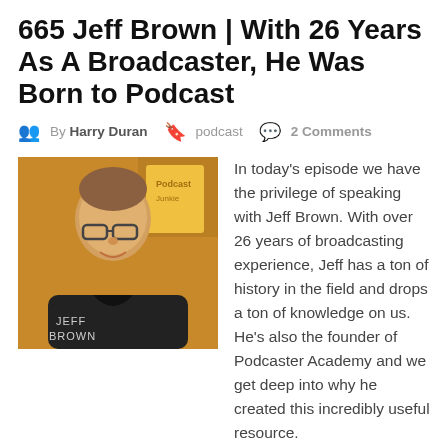665 Jeff Brown | With 26 Years As A Broadcaster, He Was Born to Podcast
By Harry Duran  podcast  2 Comments
[Figure (photo): Headshot of Jeff Brown with podcast cover art]
In today's episode we have the privilege of speaking with Jeff Brown. With over 26 years of broadcasting experience, Jeff has a ton of history in the field and drops a ton of knowledge on us. He's also the founder of Podcaster Academy and we get deep into why he created this incredibly useful resource.
Read More
RATE THIS PODCAST ★★★★★